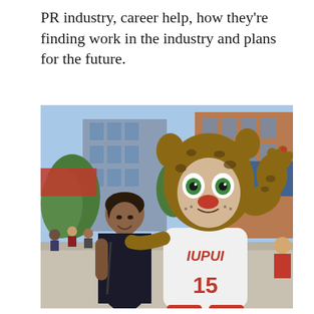PR industry, career help, how they're finding work in the industry and plans for the future.
[Figure (photo): A young woman smiling and posing with the IUPUI Jaguar mascot (wearing jersey number 15) at an outdoor campus event. Buildings and crowd visible in the background.]